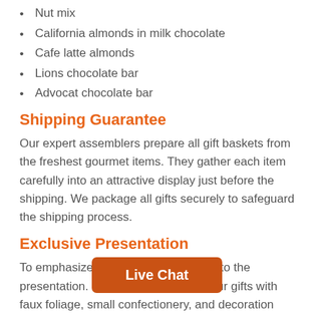Nut mix
California almonds in milk chocolate
Cafe latte almonds
Lions chocolate bar
Advocat chocolate bar
Shipping Guarantee
Our expert assemblers prepare all gift baskets from the freshest gourmet items. They gather each item carefully into an attractive display just before the shipping. We package all gifts securely to safeguard the shipping process.
Exclusive Presentation
To emphasize, we add extra attention to the presentation. In detail, we complete our gifts with faux foliage, small confectionery, and decoration complimentary to the occasion. For example, Christmas time we add an elegant ornament. Not to mention all gifts are accentuated with a hand-tied satin ribbon. In addition, a complimentary gift card with your personal greeting will accompany your gift.
Signature Cont…
Your gift will leave s… ur recipient